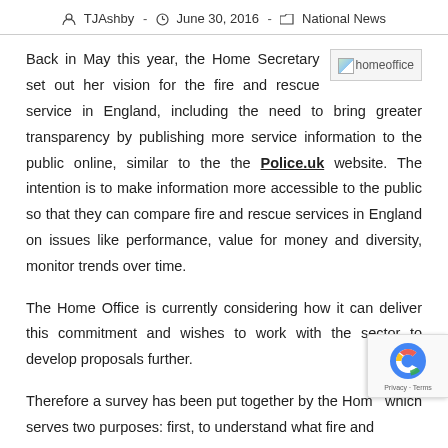TJAshby - June 30, 2016 - National News
Back in May this year, the Home Secretary set out her vision for the fire and rescue service in England, including the need to bring greater transparency by publishing more service information to the public online, similar to the the Police.uk website. The intention is to make information more accessible to the public so that they can compare fire and rescue services in England on issues like performance, value for money and diversity, monitor trends over time.
The Home Office is currently considering how it can deliver this commitment and wishes to work with the sector to develop proposals further.
Therefore a survey has been put together by the Home which serves two purposes: first, to understand what fire and